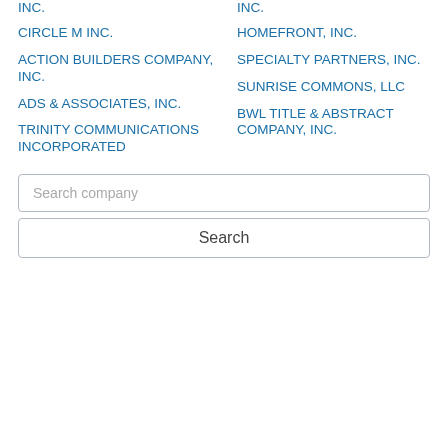INC.
ENGINEERED HOMES, INC.
CIRCLE M INC.
HOMEFRONT, INC.
ACTION BUILDERS COMPANY, INC.
SPECIALTY PARTNERS, INC.
ADS & ASSOCIATES, INC.
SUNRISE COMMONS, LLC
TRINITY COMMUNICATIONS INCORPORATED
BWL TITLE & ABSTRACT COMPANY, INC.
Search company
Search